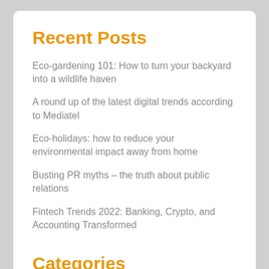Recent Posts
Eco-gardening 101: How to turn your backyard into a wildlife haven
A round up of the latest digital trends according to Mediatel
Eco-holidays: how to reduce your environmental impact away from home
Busting PR myths – the truth about public relations
Fintech Trends 2022: Banking, Crypto, and Accounting Transformed
Categories
Advertising & Marketing
Blog